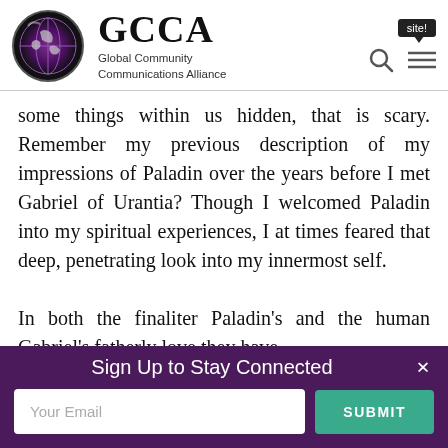GCCA Global Community Communications Alliance
some things within us hidden, that is scary. Remember my previous description of my impressions of Paladin over the years before I met Gabriel of Urantia? Though I welcomed Paladin into my spiritual experiences, I at times feared that deep, penetrating look into my innermost self.

In both the finaliter Paladin's and the human Gabriel's fatherly love they have
Sign Up to Stay Connected
Your Email
SUBMIT